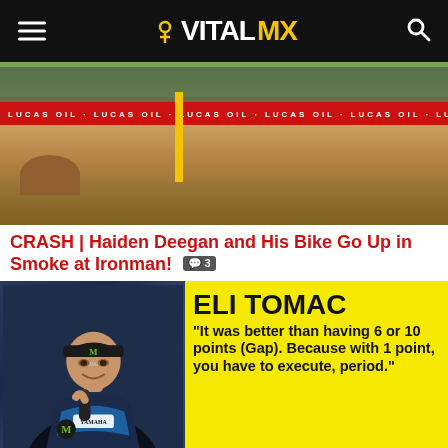VITALMX
[Figure (photo): Motocross race track with Lucas Oil banner and crash scene, crowd visible in background]
CRASH | Haiden Deegan and His Bike Go Up in Smoke at Ironman! 💬3
[Figure (photo): Eli Tomac interview card on yellow background with quote: "It was better than having 6 or 10 points (Gap). Because with 1 point, you have to execute, period."]